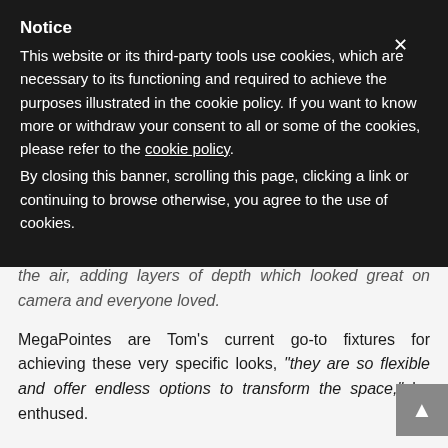Notice
This website or its third-party tools use cookies, which are necessary to its functioning and required to achieve the purposes illustrated in the cookie policy. If you want to know more or withdraw your consent to all or some of the cookies, please refer to the cookie policy. By closing this banner, scrolling this page, clicking a link or continuing to browse otherwise, you agree to the use of cookies.
the air, adding layers of depth which looked great on camera and everyone loved.
MegaPointes are Tom's current go-to fixtures for achieving these very specific looks, “they are so flexible and offer endless options to transform the space,” he enthused.
He also highlighted the shape of the venue’s roof with multiple pixel-controlled LED battens using around 400 lights in total on the rig plus